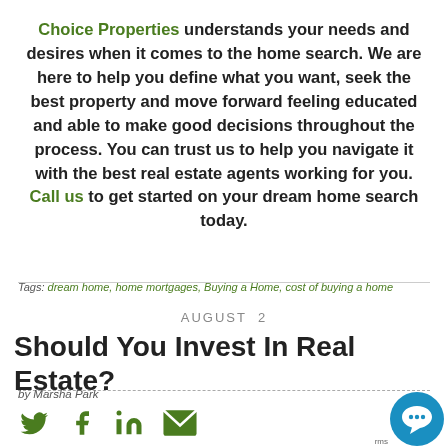Choice Properties understands your needs and desires when it comes to the home search. We are here to help you define what you want, seek the best property and move forward feeling educated and able to make good decisions throughout the process. You can trust us to help you navigate it with the best real estate agents working for you. Call us to get started on your dream home search today.
Tags: dream home, home mortgages, Buying a Home, cost of buying a home
AUGUST  2
Should You Invest In Real Estate?
by Marsha Park
[Figure (infographic): Social media share icons: Twitter bird, Facebook f, LinkedIn in, email envelope — all in dark green]